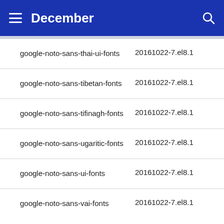December
| Package | Version |
| --- | --- |
| google-noto-sans-thai-ui-fonts | 20161022-7.el8.1 |
| google-noto-sans-tibetan-fonts | 20161022-7.el8.1 |
| google-noto-sans-tifinagh-fonts | 20161022-7.el8.1 |
| google-noto-sans-ugaritic-fonts | 20161022-7.el8.1 |
| google-noto-sans-ui-fonts | 20161022-7.el8.1 |
| google-noto-sans-vai-fonts | 20161022-7.el8.1 |